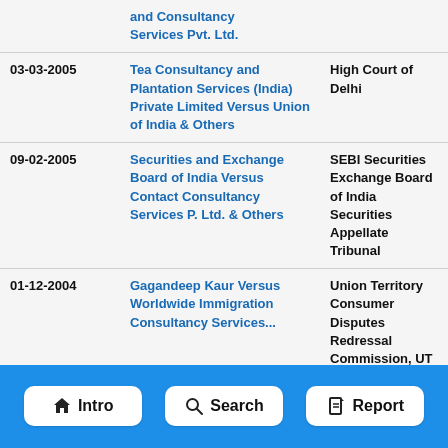| Date | Case | Forum |
| --- | --- | --- |
|  | and Consultancy Services Pvt. Ltd. |  |
| 03-03-2005 | Tea Consultancy and Plantation Services (India) Private Limited Versus Union of India & Others | High Court of Delhi |
| 09-02-2005 | Securities and Exchange Board of India Versus Contact Consultancy Services P. Ltd. & Others | SEBI Securities Exchange Board of India Securities Appellate Tribunal |
| 01-12-2004 | Gagandeep Kaur Versus Worldwide Immigration Consultancy Services... | Union Territory Consumer Disputes Redressal Commission, UT Chandigarh |
| 17-... | ...& Exchange Board of India... |  |
[Figure (infographic): Navigation bar with three buttons: Intro (home icon), Search (magnifier icon), Report (document icon), on a blue dashed-border background]